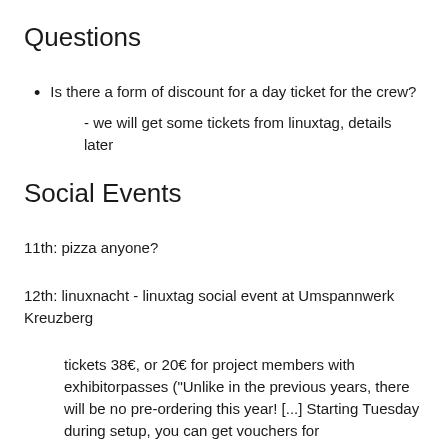Questions
Is there a form of discount for a day ticket for the crew?
- we will get some tickets from linuxtag, details later
Social Events
11th: pizza anyone?
12th: linuxnacht - linuxtag social event at Umspannwerk Kreuzberg
tickets 38€, or 20€ for project members with exhibitorpasses ("Unlike in the previous years, there will be no pre-ordering this year! [...] Starting Tuesday during setup, you can get vouchers for